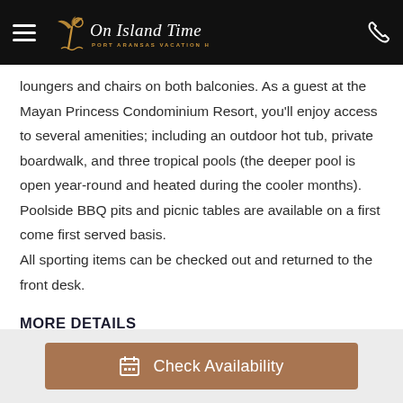On Island Time — Port Aransas Vacation Home Rentals
loungers and chairs on both balconies. As a guest at the Mayan Princess Condominium Resort, you'll enjoy access to several amenities; including an outdoor hot tub, private boardwalk, and three tropical pools (the deeper pool is open year-round and heated during the cooler months).
Poolside BBQ pits and picnic tables are available on a first come first served basis.
All sporting items can be checked out and returned to the front desk.
MORE DETAILS
Check Availability